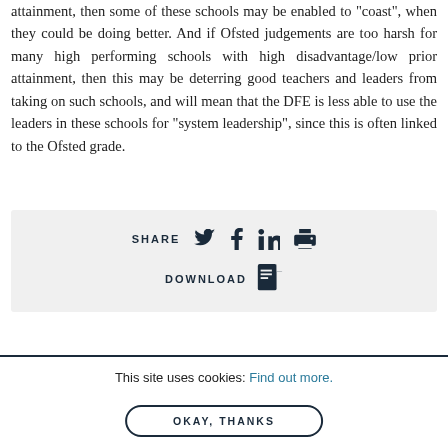attainment, then some of these schools may be enabled to “coast”, when they could be doing better. And if Ofsted judgements are too harsh for many high performing schools with high disadvantage/low prior attainment, then this may be deterring good teachers and leaders from taking on such schools, and will mean that the DFE is less able to use the leaders in these schools for “system leadership”, since this is often linked to the Ofsted grade.
[Figure (infographic): Share and download bar with social icons (Twitter, Facebook, LinkedIn, Print) and a PDF download icon]
This site uses cookies: Find out more. OKAY, THANKS